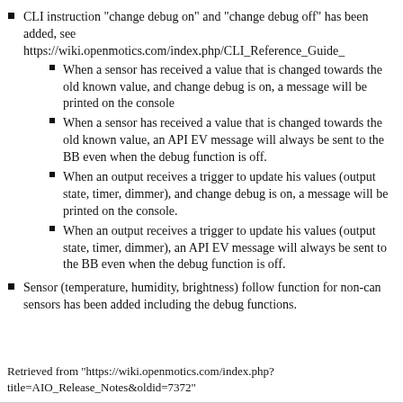CLI instruction "change debug on" and "change debug off" has been added, see https://wiki.openmotics.com/index.php/CLI_Reference_Guide_
When a sensor has received a value that is changed towards the old known value, and change debug is on, a message will be printed on the console
When a sensor has received a value that is changed towards the old known value, an API EV message will always be sent to the BB even when the debug function is off.
When an output receives a trigger to update his values (output state, timer, dimmer), and change debug is on, a message will be printed on the console.
When an output receives a trigger to update his values (output state, timer, dimmer), an API EV message will always be sent to the BB even when the debug function is off.
Sensor (temperature, humidity, brightness) follow function for non-can sensors has been added including the debug functions.
Retrieved from "https://wiki.openmotics.com/index.php?title=AIO_Release_Notes&oldid=7372"